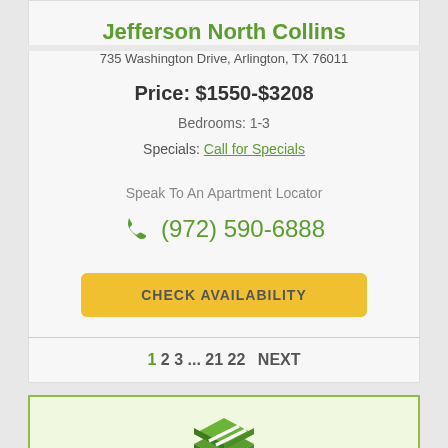Jefferson North Collins
735 Washington Drive, Arlington, TX 76011
Price: $1550-$3208
Bedrooms: 1-3
Specials: Call for Specials
Speak To An Apartment Locator
(972) 590-6888
CHECK AVAILABILITY
1  2  3  ...  21  22  NEXT
[Figure (illustration): Green box/package icon at bottom of page]